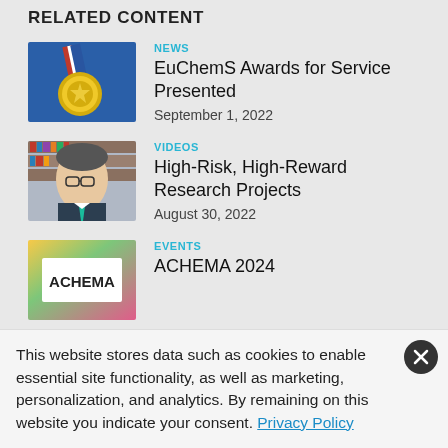RELATED CONTENT
[Figure (photo): Gold medal with red, white and blue ribbon on blue background]
NEWS
EuChemS Awards for Service Presented
September 1, 2022
[Figure (photo): Man with glasses wearing suit and tie, standing in front of bookshelves]
VIDEOS
High-Risk, High-Reward Research Projects
August 30, 2022
[Figure (logo): ACHEMA logo on colorful gradient background]
EVENTS
ACHEMA 2024
This website stores data such as cookies to enable essential site functionality, as well as marketing, personalization, and analytics. By remaining on this website you indicate your consent. Privacy Policy